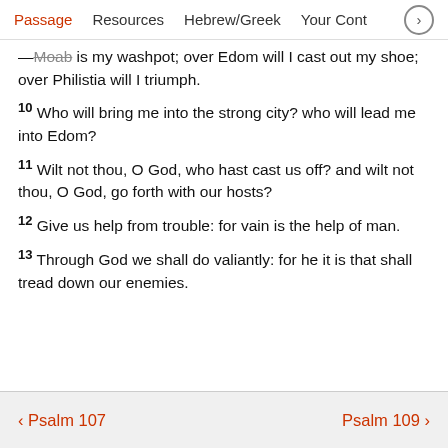Passage  Resources  Hebrew/Greek  Your Cont >
—Moab is my washpot; over Edom will I cast out my shoe; over Philistia will I triumph.
10 Who will bring me into the strong city? who will lead me into Edom?
11 Wilt not thou, O God, who hast cast us off? and wilt not thou, O God, go forth with our hosts?
12 Give us help from trouble: for vain is the help of man.
13 Through God we shall do valiantly: for he it is that shall tread down our enemies.
< Psalm 107    Psalm 109 >